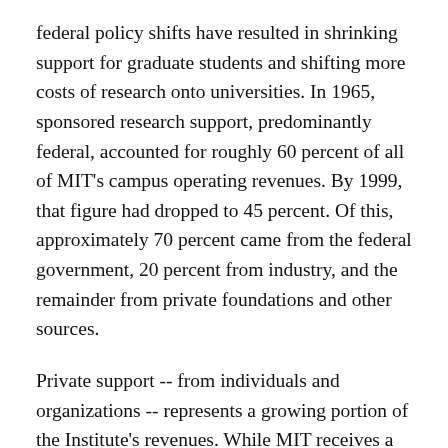federal policy shifts have resulted in shrinking support for graduate students and shifting more costs of research onto universities. In 1965, sponsored research support, predominantly federal, accounted for roughly 60 percent of all of MIT's campus operating revenues. By 1999, that figure had dropped to 45 percent. Of this, approximately 70 percent came from the federal government, 20 percent from industry, and the remainder from private foundations and other sources.
Private support -- from individuals and organizations -- represents a growing portion of the Institute's revenues. While MIT receives a higher proportion of research funding from industry than any other university, that funding is generally restricted to